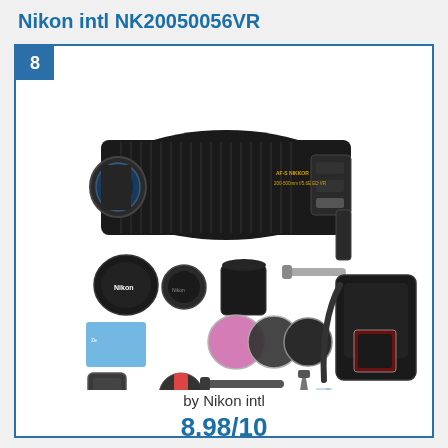Nikon intl NK20050056VR
[Figure (photo): Product photo of Nikon intl NK20050056VR telephoto lens bundle with accessories including lens caps, lens hood, filters, camera bag backpack, cleaning kit, tripod, and blower.]
by Nikon intl
8.98/10